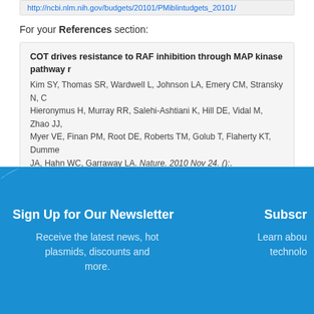http://ncbi.nlm.nih.gov/pubmed/...
For your References section:
COT drives resistance to RAF inhibition through MAP kinase pathway r... Kim SY, Thomas SR, Wardwell L, Johnson LA, Emery CM, Stransky N, C... Hieronymus H, Murray RR, Salehi-Ashtiani K, Hill DE, Vidal M, Zhao JJ,... Myer VE, Finan PM, Root DE, Roberts TM, Golub T, Flaherty KT, Dumme... JA, Hahn WC, Garraway LA. Nature. 2010 Nov 24. ():. 10.1038/nature0...
Sign Up for Our Newsletter
Receive the latest news, hot plasmids, discounts and more.
Subscr...
Learn abou... technolo...